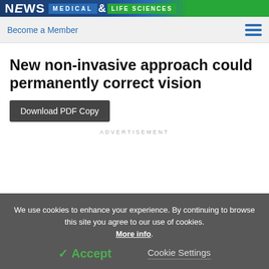NEWS MEDICAL LIFE SCIENCES
Become a Member
New non-invasive approach could permanently correct vision
Download PDF Copy
ADVERTISEMENT
We use cookies to enhance your experience. By continuing to browse this site you agree to our use of cookies. More info.
✓ Accept
Cookie Settings